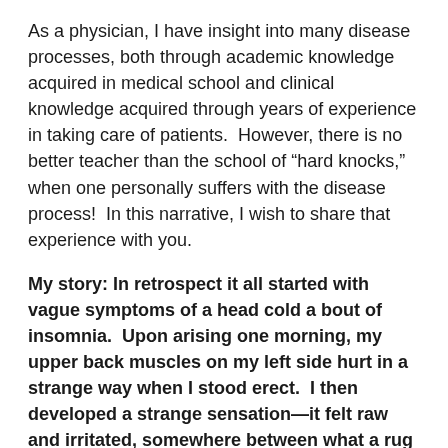As a physician, I have insight into many disease processes, both through academic knowledge acquired in medical school and clinical knowledge acquired through years of experience in taking care of patients.  However, there is no better teacher than the school of “hard knocks,” when one personally suffers with the disease process!  In this narrative, I wish to share that experience with you.
My story: In retrospect it all started with vague symptoms of a head cold a bout of insomnia.  Upon arising one morning, my upper back muscles on my left side hurt in a strange way when I stood erect.  I then developed a strange sensation—it felt raw and irritated, somewhere between what a rug burn and what getting struck with a bullwhip would feel like.  The symptoms temporally followed getting a massage, so my immediate thought was that I was